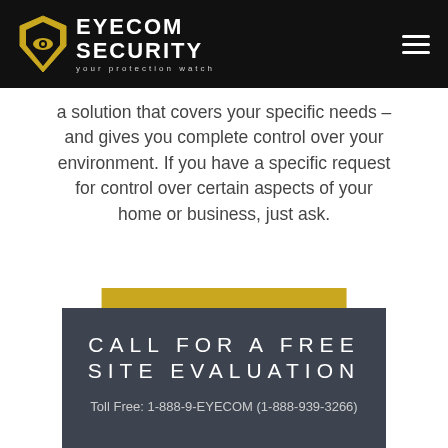EYECOM SECURITY — your protection watch
a solution that covers your specific needs – and gives you complete control over your environment. If you have a specific request for control over certain aspects of your home or business, just ask.
GET A QUOTE
CALL FOR A FREE SITE EVALUATION
Toll Free: 1-888-9-EYECOM (1-888-939-3266)